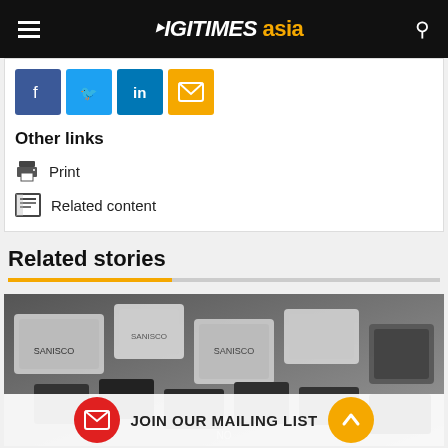DIGITIMES asia
Other links
Print
Related content
Related stories
[Figure (photo): Close-up photo of a keyboard with dark and silver keys, appears to be a mechanical keyboard]
JOIN OUR MAILING LIST